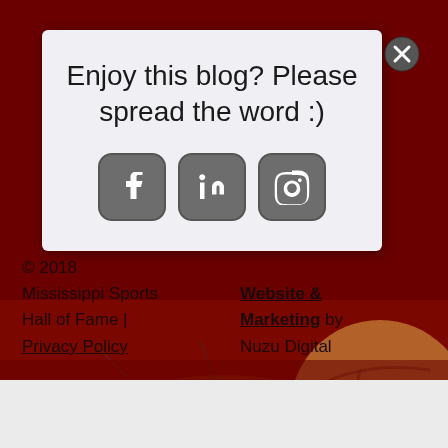[Figure (screenshot): Background photo of Mississippi Sports Hall of Fame museum interior, dark red tones, with 'AND MUSEUM' text visible in the upper portion and a basketball visible in the lower right]
Enjoy this blog? Please spread the word :)
[Figure (infographic): Three social media icons: Facebook (f), LinkedIn (in), Instagram (camera icon), displayed as rounded square buttons in grey]
© 2018 Mississippi Sports Hall of Fame | Privacy Policy    Website & Marketing by Nuzu Digital